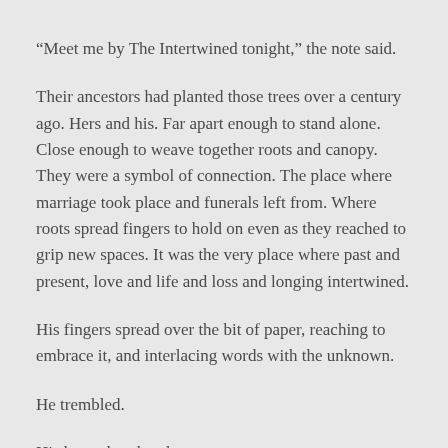“Meet me by The Intertwined tonight,” the note said.
Their ancestors had planted those trees over a century ago. Hers and his. Far apart enough to stand alone. Close enough to weave together roots and canopy. They were a symbol of connection. The place where marriage took place and funerals left from. Where roots spread fingers to hold on even as they reached to grip new spaces. It was the very place where past and present, love and life and loss and longing intertwined.
His fingers spread over the bit of paper, reaching to embrace it, and interlacing words with the unknown.
He trembled.
His heart thundered.